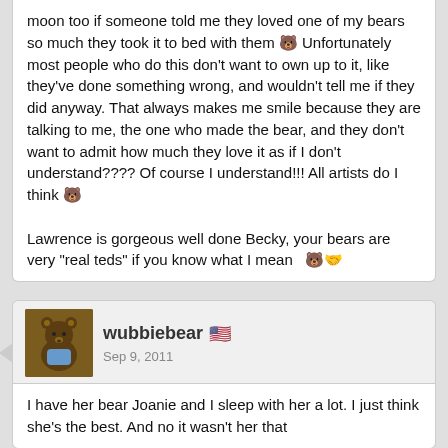moon too if someone told me they loved one of my bears so much they took it to bed with them 🐻 Unfortunately most people who do this don't want to own up to it, like they've done something wrong, and wouldn't tell me if they did anyway. That always makes me smile because they are talking to me, the one who made the bear, and they don't want to admit how much they love it as if I don't understand???? Of course I understand!!! All artists do I think 🐻

Lawrence is gorgeous well done Becky, your bears are very "real teds" if you know what I mean 🐻🤝
wubbiebear 🇺🇸
Sep 9, 2011
I have her bear Joanie and I sleep with her a lot. I just think she's the best. And no it wasn't her that